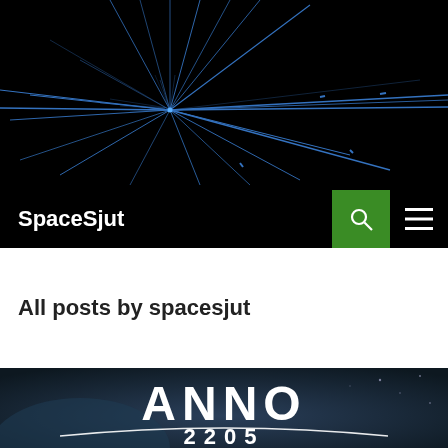[Figure (illustration): SpaceSjut website header banner with black background and blue starburst/particle collision lines radiating from a central point, resembling a physics particle track diagram]
SpaceSjut
All posts by spacesjut
[Figure (illustration): Anno 2205 game title screen with dark space/planet background showing the text ANNO in large white letters and 2205 below it, with a white arc/line beneath ANNO]